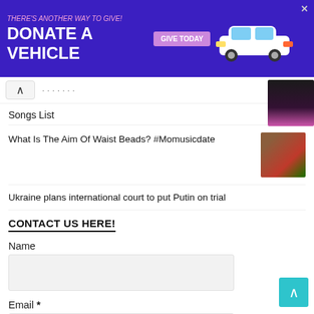[Figure (other): Purple advertisement banner: 'THERE'S ANOTHER WAY TO GIVE! DONATE A VEHICLE' with a GIVE TODAY button and white car illustration]
Songs List
What Is The Aim Of Waist Beads? #Momusicdate
Ukraine plans international court to put Putin on trial
CONTACT US HERE!
Name
Email *